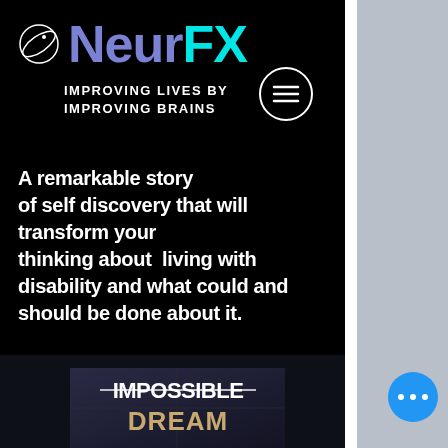[Figure (logo): NeurFX logo with circular leaf/planet icon and text 'NeurFX' in purple and cyan colors on black background]
IMPROVING LIVES BY IMPROVING BRAINS
[Figure (other): Hamburger menu button (three horizontal lines) inside a circle]
A remarkable story of self discovery that will transform your thinking about  living with disability and what could and should be done about it.
[Figure (photo): Book cover showing 'IMPOSSIBLE DREAM' text overlaid on a dark background with motorcycles]
[Figure (other): Blue circular button with three dots (ellipsis)]